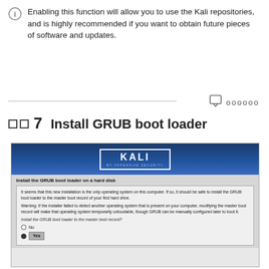Enabling this function will allow you to use the Kali repositories, and is highly recommended if you want to obtain future pieces of software and updates.
oooooo
7   Install GRUB boot loader
[Figure (screenshot): Kali Linux installer screenshot showing 'Install the GRUB boot loader on a hard disk' dialog with text about master boot record installation and radio buttons for No and Yes (Yes selected).]